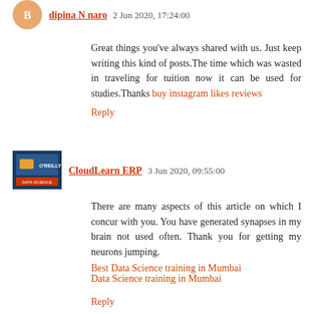dipina N naro 2 Jun 2020, 17:24:00
Great things you've always shared with us. Just keep writing this kind of posts.The time which was wasted in traveling for tuition now it can be used for studies.Thanks buy instagram likes reviews
Reply
CloudLearn ERP 3 Jun 2020, 09:55:00
There are many aspects of this article on which I concur with you. You have generated synapses in my brain not used often. Thank you for getting my neurons jumping.
Best Data Science training in Mumbai
Data Science training in Mumbai
Reply